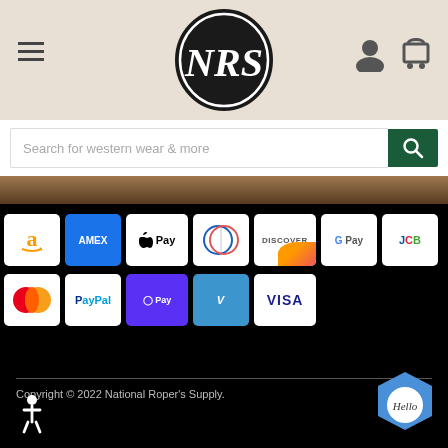[Figure (logo): NRS (National Roper's Supply) logo — white NRS letters on black oval with white border]
[Figure (screenshot): Search bar with placeholder 'Search for western wear & more' and green search button with magnifying glass icon]
[Figure (infographic): Payment method icons: Amazon, Amex, Apple Pay, Diners Club, Discover, Google Pay, JCB, Mastercard, PayPal, Shop Pay, Venmo, Visa]
Copyright © 2022 National Roper's Supply.